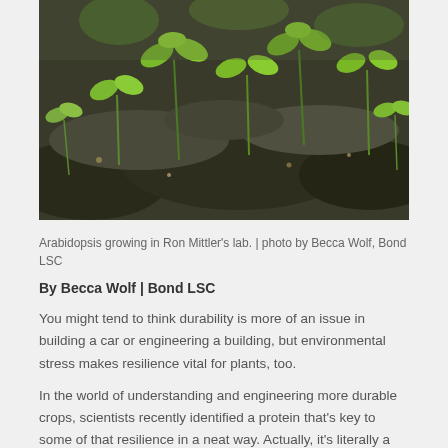[Figure (photo): Close-up photo of small green Arabidopsis seedlings sprouting from dark soil and rock.]
Arabidopsis growing in Ron Mittler's lab. | photo by Becca Wolf, Bond LSC
By Becca Wolf | Bond LSC
You might tend to think durability is more of an issue in building a car or engineering a building, but environmental stress makes resilience vital for plants, too.
In the world of understanding and engineering more durable crops, scientists recently identified a protein that's key to some of that resilience in a neat way. Actually, it's literally a NEET